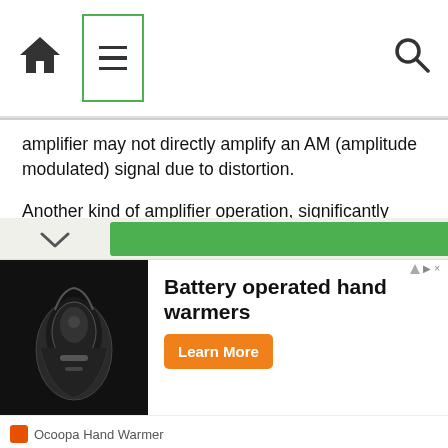[Home icon] [Menu icon] [Search icon]
amplifier may not directly amplify an AM (amplitude modulated) signal due to distortion.
Another kind of amplifier operation, significantly different from Class A, B, AB, or C, is called Class D. It is not obtained by applying a specific measure of bias voltage as are the other classes of operation, but requires a radical re-design of the amplifier circuit itself. It is a little too early in this chapter to investigate exactly how a class D amplifier is built, but not too early to discuss its basic principle of operation.
[Figure (screenshot): Advertisement for Battery operated hand warmers by Ocoopa Hand Warmer with Learn More button]